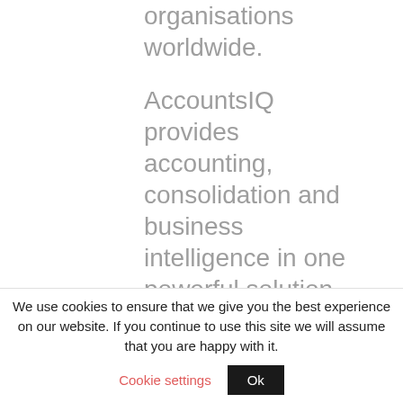organisations worldwide.
AccountsIQ provides accounting, consolidation and business intelligence in one powerful solution. The online accounting platform is delivered as a
We use cookies to ensure that we give you the best experience on our website. If you continue to use this site we will assume that you are happy with it.